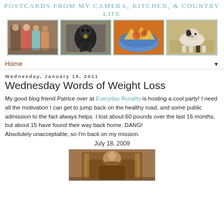POSTCARDS FROM MY CAMERA, KITCHEN, & COUNTRY LIFE
[Figure (photo): Blog header banner with four photos: a family group photo, a black goat, a bowl of food (nachos/chips), and a black and white dog]
Home ▼
Wednesday, January 19, 2011
Wednesday Words of Weight Loss
My good blog friend Patrice over at Everyday Rurality is hosting a cool party!  I need all the motivation I can get to jump back on the healthy road, and some public admission to the fact always helps.  I lost about 60 pounds over the last 16 months, but about 15 have found their way back home. DANG!
Absolutely unacceptable, so I'm back on my mission.
July 18, 2009
[Figure (photo): A man sitting behind a large wooden desk, appearing to be in an official or court setting, with an American flag visible]